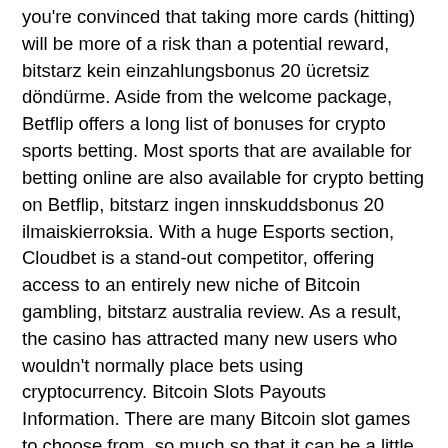you're convinced that taking more cards (hitting) will be more of a risk than a potential reward, bitstarz kein einzahlungsbonus 20 ücretsiz döndürme. Aside from the welcome package, Betflip offers a long list of bonuses for crypto sports betting. Most sports that are available for betting online are also available for crypto betting on Betflip, bitstarz ingen innskuddsbonus 20 ilmaiskierroksia. With a huge Esports section, Cloudbet is a stand-out competitor, offering access to an entirely new niche of Bitcoin gambling, bitstarz australia review. As a result, the casino has attracted many new users who wouldn't normally place bets using cryptocurrency. Bitcoin Slots Payouts Information. There are many Bitcoin slot games to choose from, so much so that it can be a little overwhelming for new players, bitstarz australia review. In 2021, these sites continue to evolve, offering new ways to play and pushing innovations in crypto gambling, bitstarz casino ingen